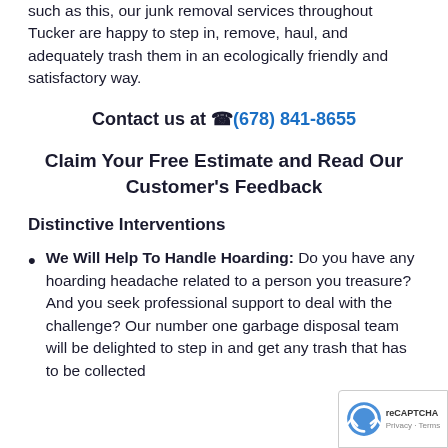such as this, our junk removal services throughout Tucker are happy to step in, remove, haul, and adequately trash them in an ecologically friendly and satisfactory way.
Contact us at 📞(678) 841-8655
Claim Your Free Estimate and Read Our Customer's Feedback
Distinctive Interventions
We Will Help To Handle Hoarding: Do you have any hoarding headache related to a person you treasure? And you seek professional support to deal with the challenge? Our number one garbage disposal team will be delighted to step in and get any trash that has to be collected